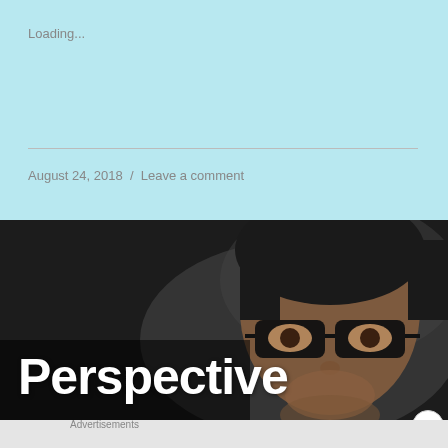Loading...
August 24, 2018  /  Leave a comment
[Figure (photo): Close-up photo of a young boy with black-rimmed glasses, looking at something off-screen, with dark background]
Perspective
Advertisements
[Figure (infographic): DuckDuckGo advertisement with orange background. Text: 'Search, browse, and email with more privacy.' Button: 'All in One Free App'. Shows DuckDuckGo logo and app on phone.]